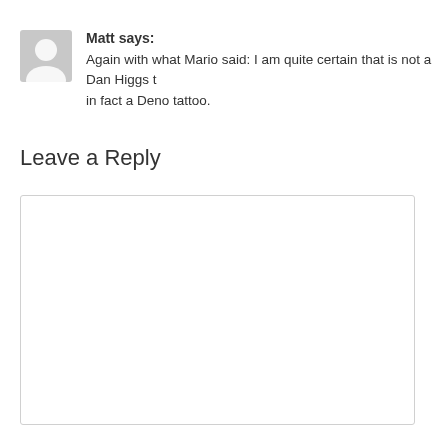Matt says: Again with what Mario said: I am quite certain that is not a Dan Higgs tattoo, in fact a Deno tattoo.
Leave a Reply
[Figure (other): Empty text area input box for leaving a reply comment]